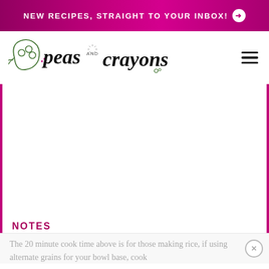NEW RECIPES, STRAIGHT TO YOUR INBOX! →
[Figure (logo): Peas and Crayons blog logo with illustrated pea pod and cursive/handwritten text]
[Figure (photo): Blank white image placeholder within bordered content area]
NOTES
The 20 minute cook time above is for those making rice, if using alternate grains for your bowl base, cook